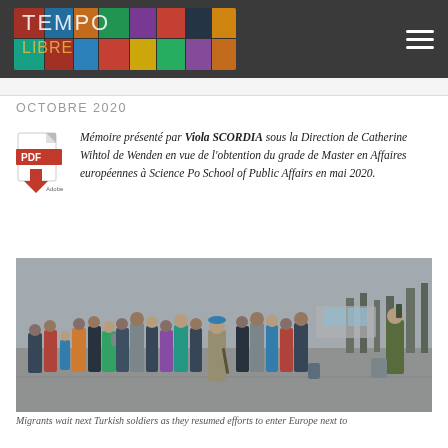OCTOBRE 2020
Mémoire présenté par Viola SCORDIA sous la Direction de Catherine Wihtol de Wenden en vue de l'obtention du grade de Master en Affaires européennes à Science Po School of Public Affairs en mai 2020.
[Figure (photo): Crowd of migrants on a road next to Turkish soldiers]
Migrants wait next Turkish soldiers as they resumed efforts to enter Europe next to